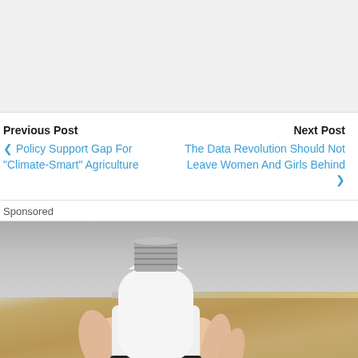Previous Post
❯ Policy Support Gap For "Climate-Smart" Agriculture
Next Post
The Data Revolution Should Not Leave Women And Girls Behind ❯
Sponsored
[Figure (photo): A hand holding a white smart light bulb with a metallic screw base (E27), photographed against a wooden surface background. The bulb appears to have a segmented design with a black ring separating two white sections.]